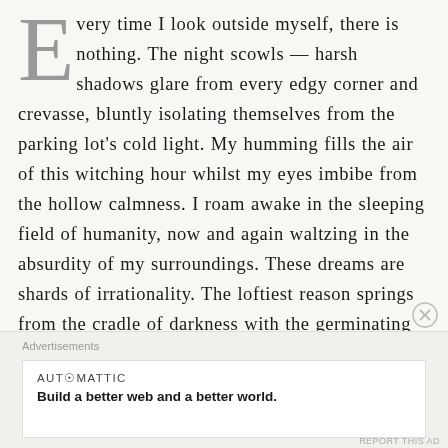Every time I look outside myself, there is nothing. The night scowls — harsh shadows glare from every edgy corner and crevasse, bluntly isolating themselves from the parking lot's cold light. My humming fills the air of this witching hour whilst my eyes imbibe from the hollow calmness. I roam awake in the sleeping field of humanity, now and again waltzing in the absurdity of my surroundings. These dreams are shards of irrationality. The loftiest reason springs from the cradle of darkness with the germinating seed of a bleeding ideal, so piercing that the reflection of life gives it form and functionality. I have brandished and slain
Advertisements
AUTOMATTIC
Build a better web and a better world.